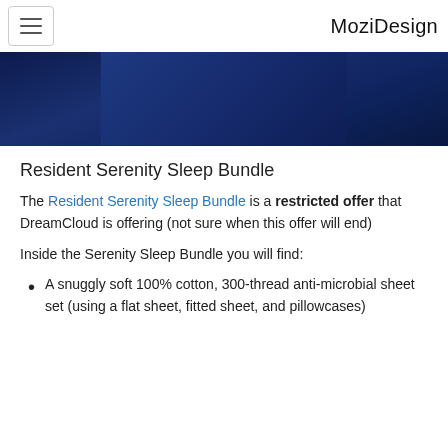MoziDesign
[Figure (photo): Dark navy blue hero image with product packaging partially visible at top]
Resident Serenity Sleep Bundle
The Resident Serenity Sleep Bundle is a restricted offer that DreamCloud is offering (not sure when this offer will end)
Inside the Serenity Sleep Bundle you will find:
A snuggly soft 100% cotton, 300-thread anti-microbial sheet set (using a flat sheet, fitted sheet, and pillowcases)